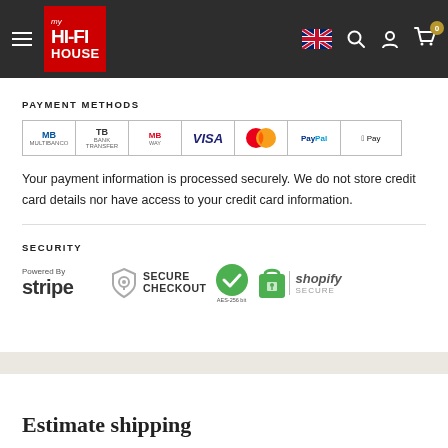my HI-FI HOUSE — navigation header with logo, UK flag, search, account, cart (0)
PAYMENT METHODS
[Figure (logo): Payment method icons: MB (Multibanco), TB, MB Way, VISA, Mastercard, PayPal, Apple Pay]
Your payment information is processed securely. We do not store credit card details nor have access to your credit card information.
SECURITY
[Figure (logo): Security logos: Powered By stripe, SECURE CHECKOUT (lock shield), AES-256 bit checkmark, shopify SECURE (green bag with lock)]
Estimate shipping